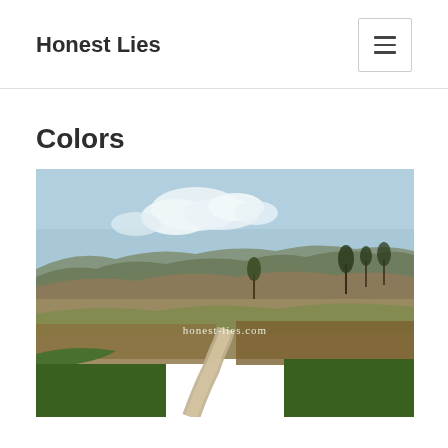Honest Lies
Colors
[Figure (photo): Landscape photo of a moorland with a winding path through green and brown grass, trees in the background, blue sky with white clouds. Watermark text 'honest-lies.com' overlaid in white.]